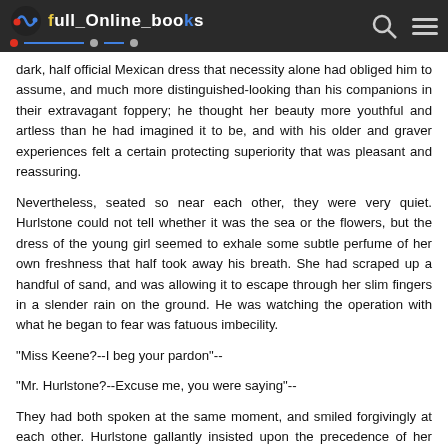Full Online Books
dark, half official Mexican dress that necessity alone had obliged him to assume, and much more distinguished-looking than his companions in their extravagant foppery; he thought her beauty more youthful and artless than he had imagined it to be, and with his older and graver experiences felt a certain protecting superiority that was pleasant and reassuring.
Nevertheless, seated so near each other, they were very quiet. Hurlstone could not tell whether it was the sea or the flowers, but the dress of the young girl seemed to exhale some subtle perfume of her own freshness that half took away his breath. She had scraped up a handful of sand, and was allowing it to escape through her slim fingers in a slender rain on the ground. He was watching the operation with what he began to fear was fatuous imbecility.
"Miss Keene?--I beg your pardon"--
"Mr. Hurlstone?--Excuse me, you were saying"--
They had both spoken at the same moment, and smiled forgivingly at each other. Hurlstone gallantly insisted upon the precedence of her thought--the scamp had doubted the coherency of his own.
"I used to think," she began--"you won't be angry, will you?"
"Decidedly not."
"I used to think you had an idea of becoming a priest."
"Why?"